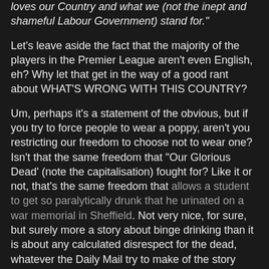loves our Country and what we (not the inept and shameful Labour Government) stand for."
Let's leave aside the fact that the majority of the players in the Premier League aren't even English, eh? Why let that get in the way of a good rant about WHAT'S WRONG WITH THIS COUNTRY?
Um, perhaps it's a statement of the obvious, but if you try to force people to wear a poppy, aren't you restricting our freedom to choose not to wear one? Isn't that the same freedom that "Our Glorious Dead' (note the capitalisation) fought for? Like it or not, that's the same freedom that allows a student to get so paralytically drunk that he urinated on a war memorial in Sheffield. Not very nice, for sure, but surely more a story about binge drinking than it is about any calculated disrespect for the dead, whatever the Daily Mail try to make of the story (flogging too good for him, naturally).
This "Poppy fascism" seems to be everywhere at the moment. Apparently the BBC are under pressure because the dancers on "Strictly..." weren't wearing poppies last